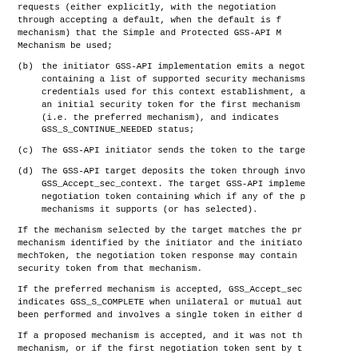requests (either explicitly, with the negotiation through accepting a default, when the default is mechanism) that the Simple and Protected GSS-API Mechanism be used;
(b) the initiator GSS-API implementation emits a negotiation token containing a list of supported security mechanisms credentials used for this context establishment, an initial security token for the first mechanism (i.e. the preferred mechanism), and indicates GSS_S_CONTINUE_NEEDED status;
(c) The GSS-API initiator sends the token to the target.
(d) The GSS-API target deposits the token through invoking GSS_Accept_sec_context. The target GSS-API implementation negotiation token containing which if any of the mechanisms it supports (or has selected).
If the mechanism selected by the target matches the preferred mechanism identified by the initiator and the initiator mechToken, the negotiation token response may contain security token from that mechanism.
If the preferred mechanism is accepted, GSS_Accept_sec indicates GSS_S_COMPLETE when unilateral or mutual authentication been performed and involves a single token in either direction.
If a proposed mechanism is accepted, and it was not the preferred mechanism, or if the first negotiation token sent by the initiator